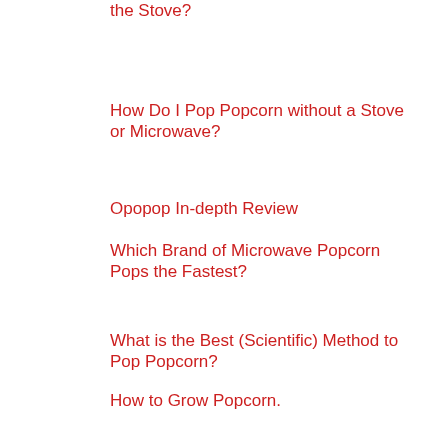the Stove?
How Do I Pop Popcorn without a Stove or Microwave?
Opopop In-depth Review
Which Brand of Microwave Popcorn Pops the Fastest?
What is the Best (Scientific) Method to Pop Popcorn?
How to Grow Popcorn.
Popcorn Science 101
How To Make Cheddar Popcorn Seasoning
How To Make Popcorn Seasoning